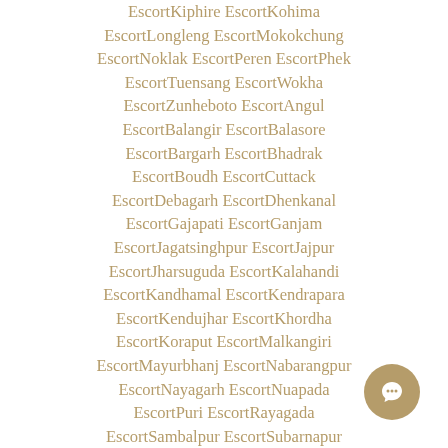EscortKiphire EscortKohima EscortLongleng EscortMokokchung EscortNoklak EscortPeren EscortPhek EscortTuensang EscortWokha EscortZunheboto EscortAngul EscortBalangir EscortBalasore EscortBargarh EscortBhadrak EscortBoudh EscortCuttack EscortDebagarh EscortDhenkanal EscortGajapati EscortGanjam EscortJagatsinghpur EscortJajpur EscortJharsuguda EscortKalahandi EscortKandhamal EscortKendrapara EscortKendujhar EscortKhordha EscortKoraput EscortMalkangiri EscortMayurbhanj EscortNabarangpur EscortNayagarh EscortNuapada EscortPuri EscortRayagada EscortSambalpur EscortSubarnapur EscortSundergarh EscortAmritsar EscortBarnala EscortBathinda EscortFaridkot EscortFatehgarh Sahib EscortFazilka EscortFirozpur